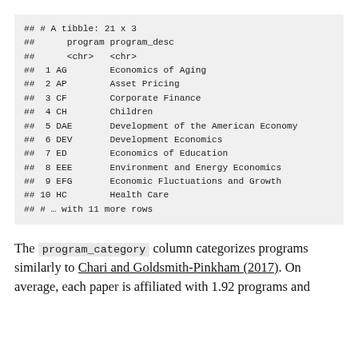[Figure (screenshot): R console output showing a tibble with 21 rows and 3 columns: program, program_desc, and a third truncated column. Rows 1-10 are shown with program codes (AG, AP, CF, CH, DAE, DEV, ED, EEE, EFG, HC) and their descriptions. A footer line indicates 11 more rows.]
The program_category column categorizes programs similarly to Chari and Goldsmith-Pinkham (2017). On average, each paper is affiliated with 1.92 programs and